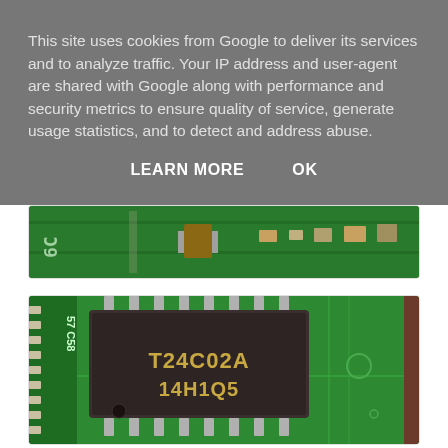This site uses cookies from Google to deliver its services and to analyze traffic. Your IP address and user-agent are shared with Google along with performance and security metrics to ensure quality of service, generate usage statistics, and to detect and address abuse.
LEARN MORE    OK
[Figure (photo): Partial view of a green circuit board (PCB) with electronic components including capacitors and resistors, partially obscured by the cookie consent overlay.]
[Figure (photo): Close-up macro photograph of a green PCB showing an 8-pin SOIC chip labeled 'T24C02A' and '14H1Q5', along with circuit traces, solder joints, and the component label '57 C58' on the board edge.]